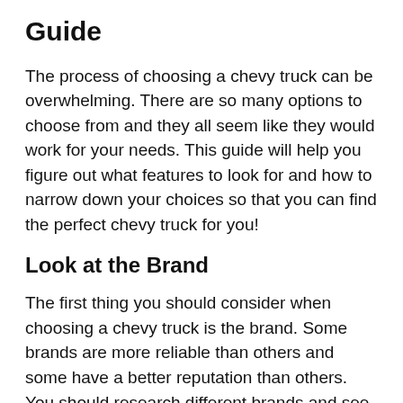Guide
The process of choosing a chevy truck can be overwhelming. There are so many options to choose from and they all seem like they would work for your needs. This guide will help you figure out what features to look for and how to narrow down your choices so that you can find the perfect chevy truck for you!
Look at the Brand
The first thing you should consider when choosing a chevy truck is the brand. Some brands are more reliable than others and some have a better reputation than others. You should research different brands and see